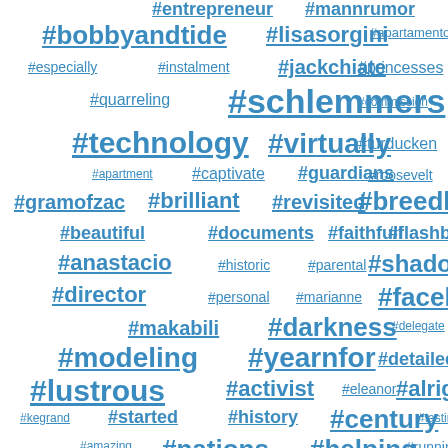[Figure (infographic): Word cloud of hashtags in various sizes rendered in blue underlined text on white background. Larger text indicates higher frequency. Tags include: #entrepreneur, #mannrumor, #bobbyandtide, #lisasorgini, #apartamento, #especially, #instalment, #jackchiate, #princesses, #quarreling, #schlemmers, #commission, #technology, #virtually, #turducken, #apartment, #captivate, #guardians, #roosevelt, #gramofzac, #brilliant, #revisited, #breedlove, #beautiful, #documents, #faithfull, #flashback, #anastacio, #historic, #parental, #shadowed, #director, #personal, #marianne, #facebook, #makabili, #darkness, #delegate, #modeling, #yearnfor, #detailed, #lustrous, #activist, #eleanor, #alright, #kegrand, #started, #history, #century, #tasting, #amazing, #nations, #helping, #running, #jumping, #workout, #sisters, #barbara, #artisan, #thanked, #served, #united, #minute, #launch, #cinema, #squats, #flying, #london, #walker, #wonder]